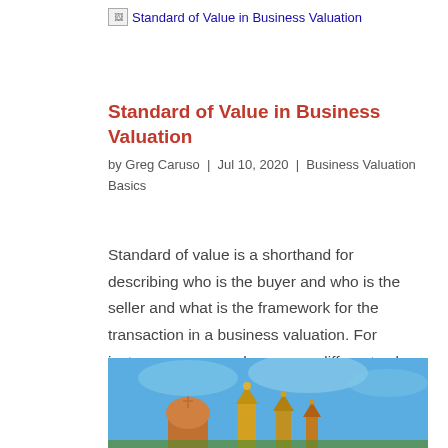[Figure (other): Broken image icon with alt text 'Standard of Value in Business Valuation' as a link]
Standard of Value in Business Valuation
by Greg Caruso | Jul 10, 2020 | Business Valuation Basics
Standard of value is a shorthand for describing who is the buyer and who is the seller and what is the framework for the transaction in a business valuation. For instance a race car has a very different value to a race car driver than it would to a family of six…
[Figure (illustration): Partial illustration of colorful buildings/towers with blue sky background, cropped at bottom of page]